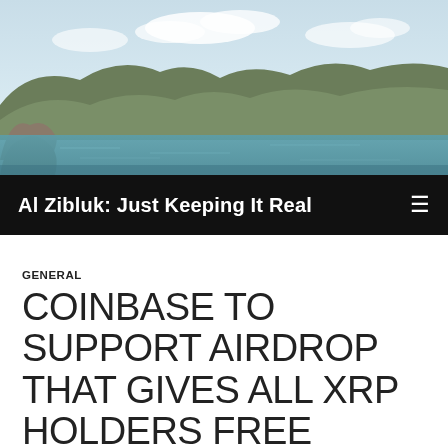[Figure (photo): Landscape photo showing a coastal scene with green hills, blue-green water, rocky cliffs, and a partly cloudy sky.]
Al Zibluk: Just Keeping It Real
GENERAL
COINBASE TO SUPPORT AIRDROP THAT GIVES ALL XRP HOLDERS FREE CRYPTO
DECEMBER 7, 2020